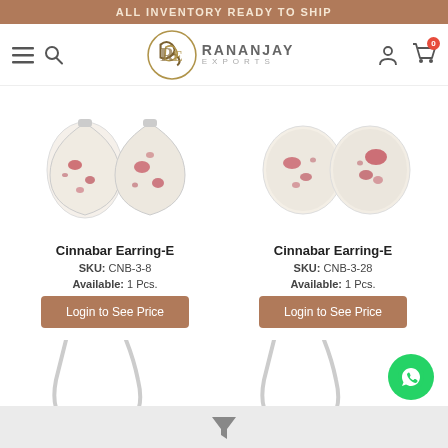ALL INVENTORY READY TO SHIP
[Figure (logo): Rananjay Exports logo with stylized RE monogram and brand name]
[Figure (photo): Two cream/white cinnabar earring stones with red speckles, teardrop shaped]
Cinnabar Earring-E
SKU: CNB-3-8
Available: 1 Pcs.
Login to See Price
[Figure (photo): Two cream/white cinnabar earring stones with red speckles, oval shaped]
Cinnabar Earring-E
SKU: CNB-3-28
Available: 1 Pcs.
Login to See Price
[Figure (photo): Silver wire earring hooks, bottom portion visible]
[Figure (photo): Silver wire earring hooks, bottom portion visible]
[Figure (screenshot): WhatsApp contact button (green circle with phone icon)]
[Figure (other): Filter funnel icon on grey bottom bar]